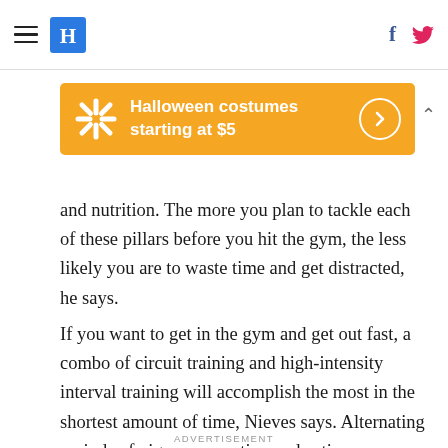HuffPost navigation with hamburger menu, logo, Facebook and Twitter icons
[Figure (screenshot): Walmart advertisement banner: orange background with Walmart spark logo, text 'Halloween costumes starting at $5', circular arrow button, and chevron up icon]
and nutrition. The more you plan to tackle each of these pillars before you hit the gym, the less likely you are to waste time and get distracted, he says.
If you want to get in the gym and get out fast, a combo of circuit training and high-intensity interval training will accomplish the most in the shortest amount of time, Nieves says. Alternating periods of vigorous exertion and active recovery have been shown to increase the number of calories burned, both during the workout and afterward.
ADVERTISEMENT